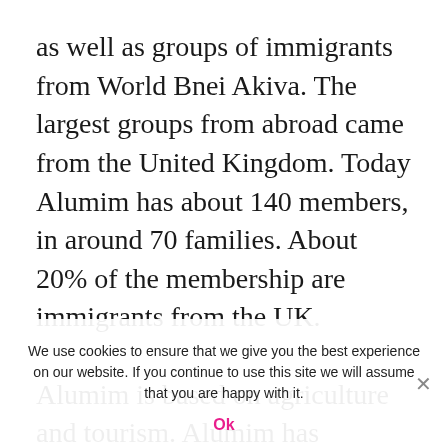as well as groups of immigrants from World Bnei Akiva. The largest groups from abroad came from the United Kingdom. Today Alumim has about 140 members, in around 70 families. About 20% of the membership are immigrants from the UK.

Alumim is based on agriculture and tourism. Alumim has maintained the classic kibbutz collective life style. Each member receives an allowance based on his or her needs (size of family, age of children etc.). The allowance is not connected to the occupation of the member. There is no monetary circulation of any form of work. Chores such as serving in the dining hall, guard duty at night, milking the cows at the weekend are done on a rota basis. They produce and
We use cookies to ensure that we give you the best experience on our website. If you continue to use this site we will assume that you are happy with it. Ok